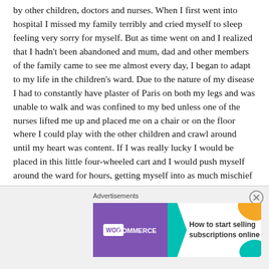by other children, doctors and nurses. When I first went into hospital I missed my family terribly and cried myself to sleep feeling very sorry for myself. But as time went on and I realized that I hadn't been abandoned and mum, dad and other members of the family came to see me almost every day, I began to adapt to my life in the children's ward. Due to the nature of my disease I had to constantly have plaster of Paris on both my legs and was unable to walk and was confined to my bed unless one of the nurses lifted me up and placed me on a chair or on the floor where I could play with the other children and crawl around until my heart was content. If I was really lucky I would be placed in this little four-wheeled cart and I would push myself around the ward for hours, getting myself into as much mischief as possible.
[Figure (other): WooCommerce advertisement banner with teal arrow, purple background with WooCommerce logo, and text 'How to start selling subscriptions online' with orange and teal decorative shapes]